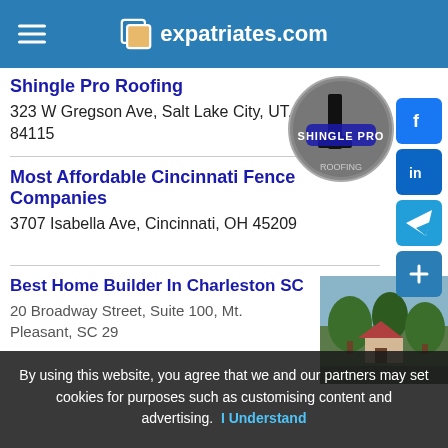expatriates.com
Shingle Pro Roofing
323 W Gregson Ave, Salt Lake City, UT, 84115
[Figure (logo): Shingle Pro Roofing circular logo with number 1]
Most Affordable Cincinnati Fence Companies
3707 Isabella Ave, Cincinnati, OH 45209
Best Home Builder In Charleston SC
20 Broadway Street, Suite 100, Mt. Pleasant, SC 29
[Figure (photo): Photo of trees and a house exterior]
By using this website, you agree that we and our partners may set cookies for purposes such as customising content and advertising. I Understand